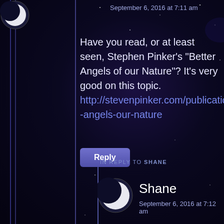[Figure (illustration): Dark space/night sky background with purple tones and stars]
September 6, 2016 at 7:11 am
Have you read, or at least seen, Stephen Pinker's "Better Angels of our Nature"? It's very good on this topic. http://stevenpinker.com/publications/better-angels-our-nature
Reply
IN REPLY TO SHANE
Shane
September 6, 2016 at 7:12 am